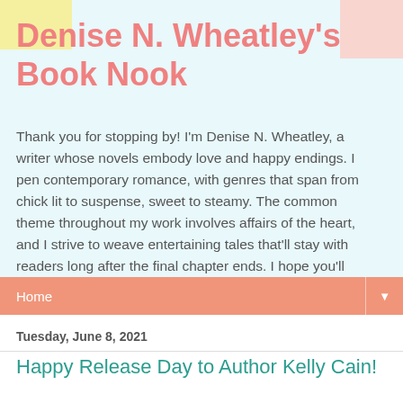Denise N. Wheatley's Book Nook
Thank you for stopping by! I'm Denise N. Wheatley, a writer whose novels embody love and happy endings. I pen contemporary romance, with genres that span from chick lit to suspense, sweet to steamy. The common theme throughout my work involves affairs of the heart, and I strive to weave entertaining tales that'll stay with readers long after the final chapter ends. I hope you'll enjoy reading my books as much as I enjoy writing them!
Home
Tuesday, June 8, 2021
Happy Release Day to Author Kelly Cain!